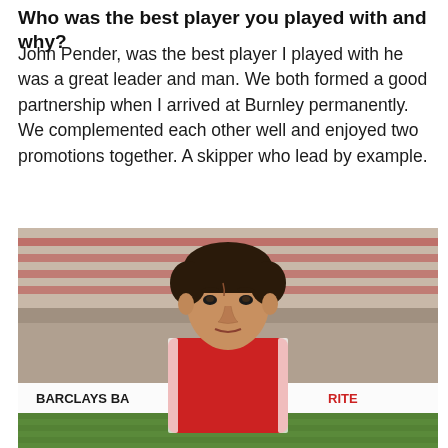Who was the best player you played with and why?
John Pender, was the best player I played with he was a great leader and man. We both formed a good partnership when I arrived at Burnley permanently. We complemented each other well and enjoyed two promotions together. A skipper who lead by example.
[Figure (photo): Black and white/colour photograph of a male footballer with dark swept-back hair, wearing a red and white football kit, posed in front of a stadium stand with advertising boards including 'BARCLAYS BA' and 'RITE' visible in the background.]